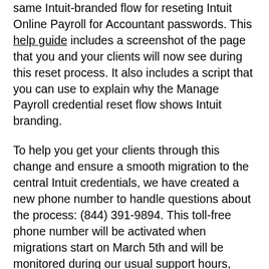same Intuit-branded flow for reseting Intuit Online Payroll for Accountant passwords. This help guide includes a screenshot of the page that you and your clients will now see during this reset process. It also includes a script that you can use to explain why the Manage Payroll credential reset flow shows Intuit branding.
To help you get your clients through this change and ensure a smooth migration to the central Intuit credentials, we have created a new phone number to handle questions about the process: (844) 391-9894. This toll-free phone number will be activated when migrations start on March 5th and will be monitored during our usual support hours, from 6 am to 6 pm PT, Monday through